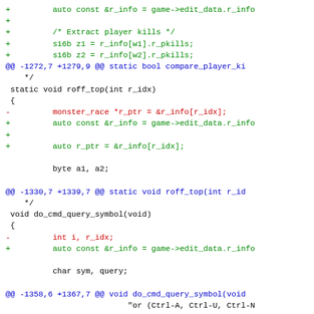[Figure (screenshot): A code diff screenshot showing C++ source code changes with green (+) additions, red (-) deletions, and blue (@@) hunk headers. The diff includes changes to functions compare_player_kills, roff_top, do_cmd_query_symbol, and related code.]